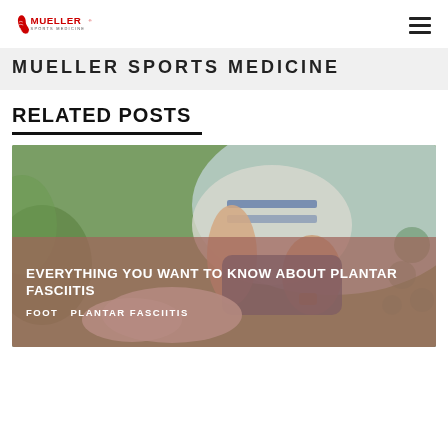Mueller Sports Medicine
MUELLER SPORTS MEDICINE
RELATED POSTS
[Figure (photo): Person holding foot, likely demonstrating plantar fasciitis. Background shows outdoor/sport setting.]
EVERYTHING YOU WANT TO KNOW ABOUT PLANTAR FASCIITIS
FOOT  PLANTAR FASCIITIS